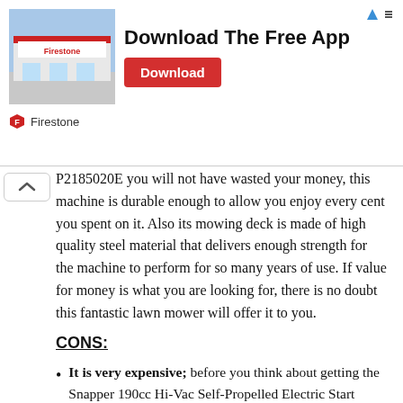[Figure (other): Advertisement banner for Firestone app download. Shows a Firestone store building image on the left, bold text 'Download The Free App' in the center, a red 'Download' button on the right, and a Firestone logo/shield icon with text 'Firestone' below.]
P2185020E you will not have wasted your money, this machine is durable enough to allow you enjoy every cent you spent on it. Also its mowing deck is made of high quality steel material that delivers enough strength for the machine to perform for so many years of use. If value for money is what you are looking for, there is no doubt this fantastic lawn mower will offer it to you.
CONS:
It is very expensive; before you think about getting the Snapper 190cc Hi-Vac Self-Propelled Electric Start Lawn Mower be ready to spend a really good amount of money. Many of the mowers we have seen range between $250 and $550 however the Snapper P2185020E costs $740